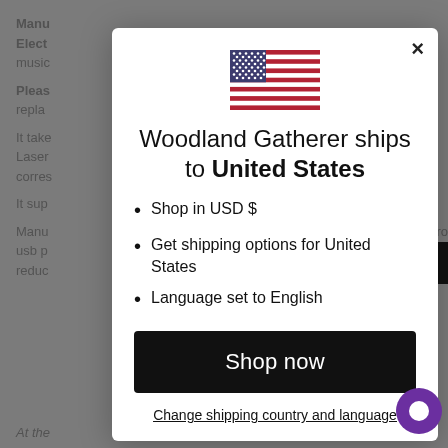Manu...
Elect...
music...
Pleas...
repla...
It take...
Laser...
corres...
It sup...
Manu... micro usb p... reduc...
At the... (italic partial)
[Figure (screenshot): Modal dialog overlay on a product page. Shows US flag at top, heading 'Woodland Gatherer ships to United States', bullet list: Shop in USD $, Get shipping options for United States, Language set to English. Black 'Shop now' button. 'Change shipping country and language' link. Close X button top right.]
Woodland Gatherer ships to United States
Shop in USD $
Get shipping options for United States
Language set to English
Shop now
Change shipping country and language